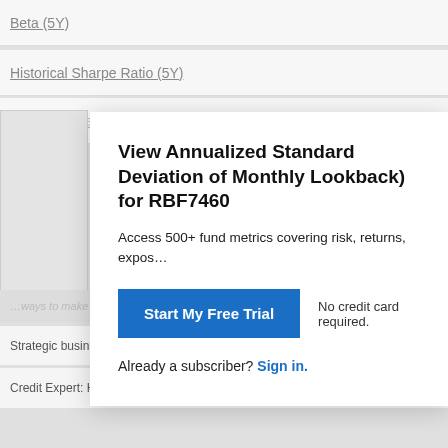Beta (5Y)
Historical Sharpe Ratio (5Y)
View Annualized Standard Deviation of Monthly Lookback) for RBF7460
Access 500+ fund metrics covering risk, returns, expos…
Start My Free Trial
No credit card required.
Already a subscriber? Sign in.
Strategic business advice. Local expertise. Delivered with care.  Truist Comm…
Credit Expert: Hands Down The Best Card Of 2022  CompareCredit.com